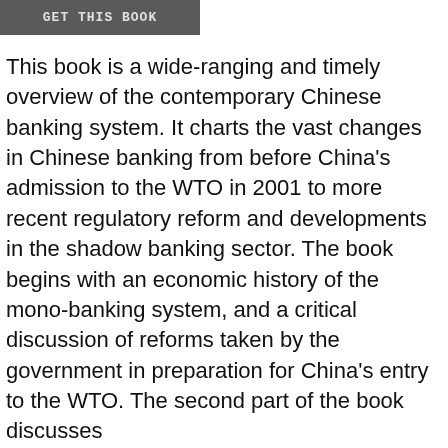[Figure (other): A dark grey button labeled 'GET THIS BOOK' in bold monospace uppercase text]
This book is a wide-ranging and timely overview of the contemporary Chinese banking system. It charts the vast changes in Chinese banking from before China's admission to the WTO in 2001 to more recent regulatory reform and developments in the shadow banking sector. The book begins with an economic history of the mono-banking system, and a critical discussion of reforms taken by the government in preparation for China's entry to the WTO. The second part of the book discusses